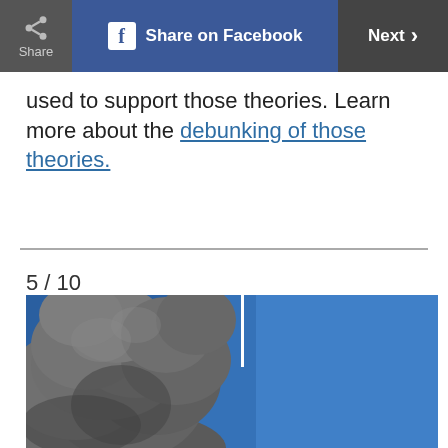Share | Share on Facebook | Next >
used to support those theories. Learn more about the debunking of those theories.
[Figure (photo): A photograph showing large billowing smoke clouds against a bright blue sky, with a vertical white structure (building antenna/spire) visible above the smoke. Appears to be related to the September 11, 2001 attacks.]